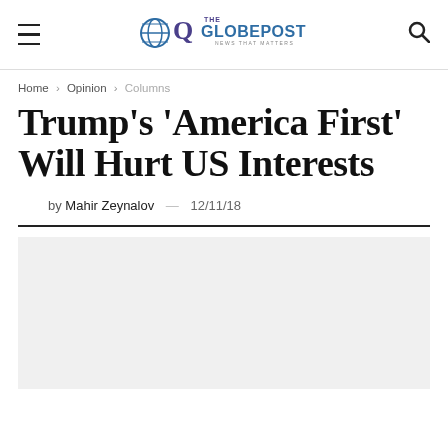The Globe Post — News That Matters
Home > Opinion > Columns
Trump's 'America First' Will Hurt US Interests
by Mahir Zeynalov — 12/11/18
[Figure (photo): Article header image placeholder (gray box)]